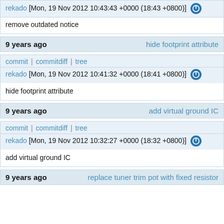rekado [Mon, 19 Nov 2012 10:43:43 +0000 (18:43 +0800)]
remove outdated notice
9 years ago   hide footprint attribute
commit | commitdiff | tree
rekado [Mon, 19 Nov 2012 10:41:32 +0000 (18:41 +0800)]
hide footprint attribute
9 years ago   add virtual ground IC
commit | commitdiff | tree
rekado [Mon, 19 Nov 2012 10:32:27 +0000 (18:32 +0800)]
add virtual ground IC
9 years ago   replace tuner trim pot with fixed resistor